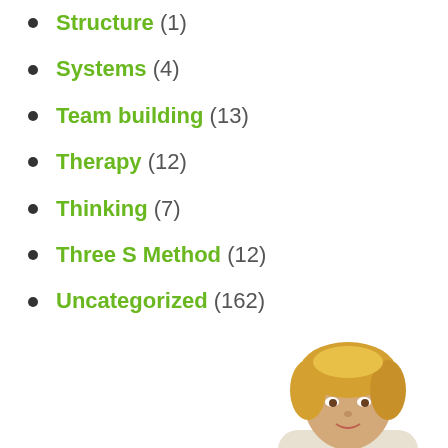Structure (1)
Systems (4)
Team building (13)
Therapy (12)
Thinking (7)
Three S Method (12)
Uncategorized (162)
[Figure (photo): Partial photo of a blonde woman, cropped at bottom right of page]